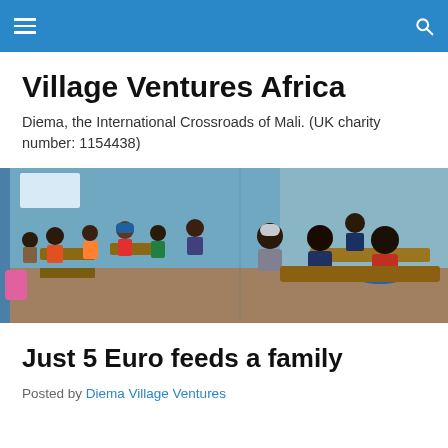Village Ventures Africa (navigation bar)
Village Ventures Africa
Diema, the International Crossroads of Mali. (UK charity number: 1154438)
[Figure (photo): Classroom photo showing African children seated at desks in a blue-walled schoolroom, smiling at the camera.]
Just 5 Euro feeds a family
Posted by Diema Village Ventures